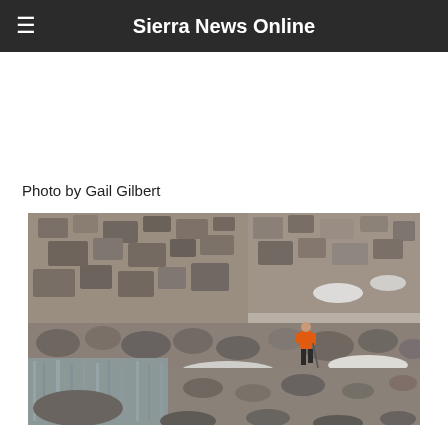Sierra News Online
Photo by Gail Gilbert
[Figure (photo): A hiker in an orange jacket standing among large rocks and boulders with snow patches and a reflective pool of water in a mountainous rocky landscape.]